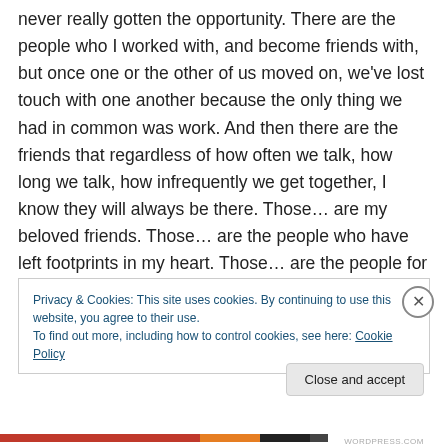never really gotten the opportunity.  There are the people who I worked with, and become friends with, but once one or the other of us moved on, we've lost touch with one another because the only thing we had in common was work.  And then there are the friends that regardless of how often we talk, how long we talk, how infrequently we get together, I know they will always be there.  Those… are my beloved friends.  Those… are the people who have left footprints in my heart.  Those… are the people for whom I will be eternally grateful.
Privacy & Cookies: This site uses cookies. By continuing to use this website, you agree to their use.
To find out more, including how to control cookies, see here: Cookie Policy
Close and accept